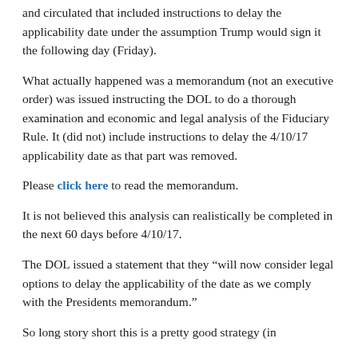and circulated that included instructions to delay the applicability date under the assumption Trump would sign it the following day (Friday).
What actually happened was a memorandum (not an executive order) was issued instructing the DOL to do a thorough examination and economic and legal analysis of the Fiduciary Rule. It (did not) include instructions to delay the 4/10/17 applicability date as that part was removed.
Please click here to read the memorandum.
It is not believed this analysis can realistically be completed in the next 60 days before 4/10/17.
The DOL issued a statement that they “will now consider legal options to delay the applicability of the date as we comply with the Presidents memorandum.”
So long story short this is a pretty good strategy (in